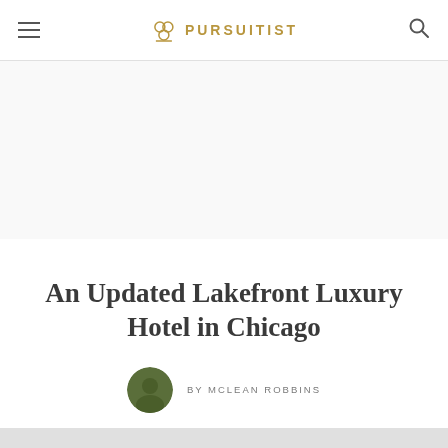PURSUITIST
[Figure (other): Advertisement placeholder area]
An Updated Lakefront Luxury Hotel in Chicago
BY MCLEAN ROBBINS